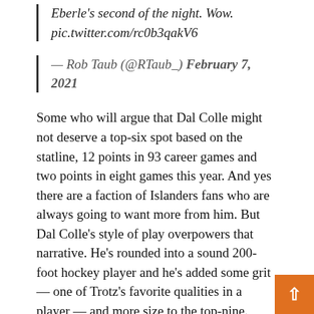Eberle's second of the night. Wow.
pic.twitter.com/rc0b3qakV6
— Rob Taub (@RTaub_) February 7, 2021
Some who will argue that Dal Colle might not deserve a top-six spot based on the statline, 12 points in 93 career games and two points in eight games this year. And yes there are a faction of Islanders fans who are always going to want more from him. But Dal Colle's style of play overpowers that narrative. He's rounded into a sound 200-foot hockey player and he's added some grit — one of Trotz's favorite qualities in a player — and more size to the top-nine.
"[Dal Colle] is changing his mindset," Trotz said two weeks ago. "I asked him to change his mindset to get 'Let's get to being a worker bee every day.' What will happen is he'll be more involved. He'll start getting production from that because he's not thinking about the production part, he's thinking about just of those natural skills he has